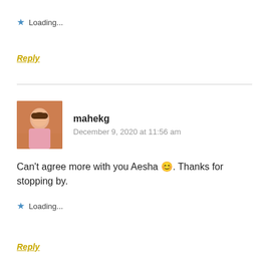★ Loading...
Reply
mahekg
December 9, 2020 at 11:56 am
[Figure (photo): Avatar photo of mahekg, a person in a pink shirt]
Can't agree more with you Aesha 😊. Thanks for stopping by.
★ Loading...
Reply